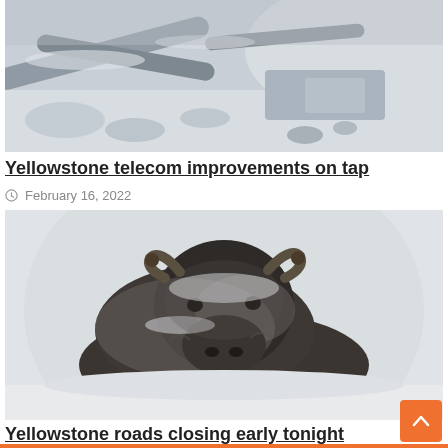[Figure (photo): Snow-covered fallen logs and rocks near a river or stream in a winter forest scene with mist]
Yellowstone telecom improvements on tap
February 16, 2022
[Figure (photo): A frost-covered bison lying in deep snow, facing the camera, with snowy landscape in background]
Yellowstone roads closing early tonight